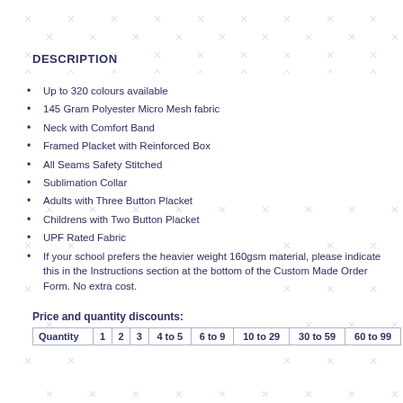DESCRIPTION
Up to 320 colours available
145 Gram Polyester Micro Mesh fabric
Neck with Comfort Band
Framed Placket with Reinforced Box
All Seams Safety Stitched
Sublimation Collar
Adults with Three Button Placket
Childrens with Two Button Placket
UPF Rated Fabric
If your school prefers the heavier weight 160gsm material, please indicate this in the Instructions section at the bottom of the Custom Made Order Form. No extra cost.
Price and quantity discounts:
| Quantity | 1 | 2 | 3 | 4 to 5 | 6 to 9 | 10 to 29 | 30 to 59 | 60 to 99 |
| --- | --- | --- | --- | --- | --- | --- | --- | --- |